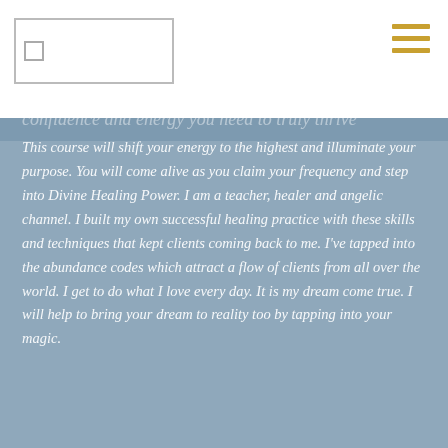[Logo placeholder]
confidence and energy you need to truly thrive
This course will shift your energy to the highest and illuminate your purpose. You will come alive as you claim your frequency and step into Divine Healing Power. I am a teacher, healer and angelic channel.  I built my own successful healing practice with these skills and techniques that kept clients coming back to me. I've tapped into the abundance codes which attract a flow of clients from all over the world.  I get to do what I love every day. It is my dream come true. I will help to bring  your dream to reality too by tapping into your magic.